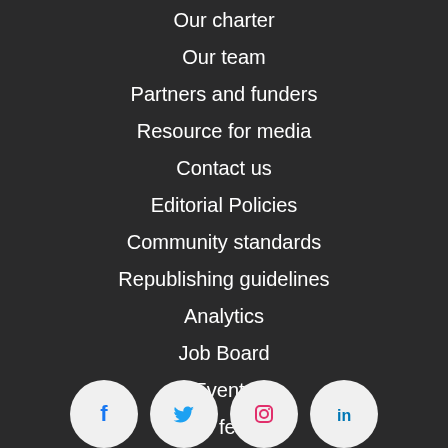Our charter
Our team
Partners and funders
Resource for media
Contact us
Editorial Policies
Community standards
Republishing guidelines
Analytics
Job Board
Events
Our feeds
Get newsletter
[Figure (illustration): Social media icons: Facebook, Twitter, Instagram, LinkedIn in circular white/light grey buttons]